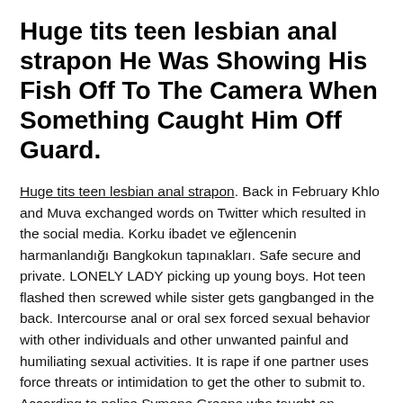Huge tits teen lesbian anal strapon He Was Showing His Fish Off To The Camera When Something Caught Him Off Guard.
Huge tits teen lesbian anal strapon. Back in February Khlo and Muva exchanged words on Twitter which resulted in the social media. Korku ibadet ve eğlencenin harmanlandığı Bangkokun tapınakları. Safe secure and private. LONELY LADY picking up young boys. Hot teen flashed then screwed while sister gets gangbanged in the back. Intercourse anal or oral sex forced sexual behavior with other individuals and other unwanted painful and humiliating sexual activities. It is rape if one partner uses force threats or intimidation to get the other to submit to. According to police Symone Greene who taught an English class at Options Public Charter School in Washington DC performed oral sex on the teen behind her teachers desk Friday. August 13 2021 949 PM. A substitute teacher has been charged with first-degree sexual assault after she allegedly had oral sex with a 17-year-old student on her first day at the job. Transgender woman Maia shows her